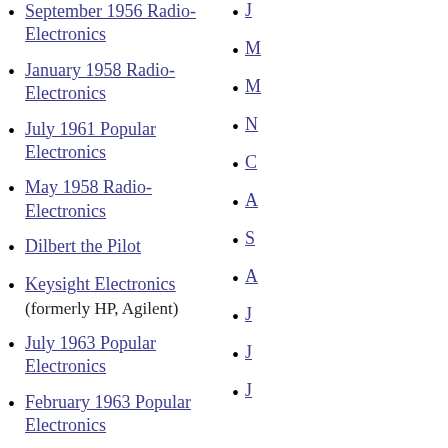September 1956 Radio-Electronics
January 1958 Radio-Electronics
July 1961 Popular Electronics
May 1958 Radio-Electronics
Dilbert the Pilot
Keysight Electronics (formerly HP, Agilent)
July 1963 Popular Electronics
February 1963 Popular Electronics
May 1959 Popular Electronics
December 1957 Popular Electronics
...and of course "Hobnobbing with Harbaugh" in Popular Electronics
December 1964